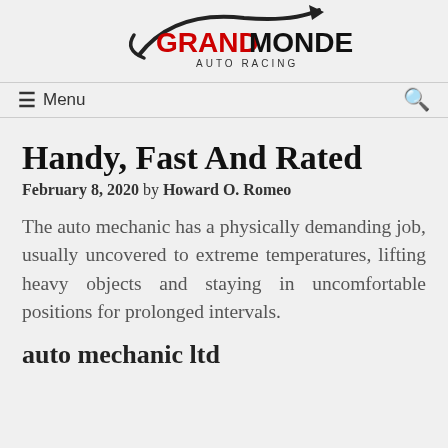[Figure (logo): Grand Monde Auto Racing logo with swoosh/arrow graphic above the text GRANDMONDE in red and black, with AUTO RACING subtitle below]
≡ Menu   🔍
Handy, Fast And Rated
February 8, 2020 by Howard O. Romeo
The auto mechanic has a physically demanding job, usually uncovered to extreme temperatures, lifting heavy objects and staying in uncomfortable positions for prolonged intervals.
auto mechanic ltd